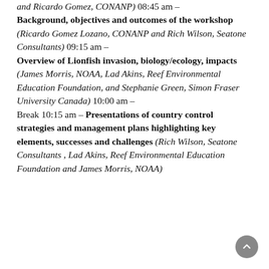and Ricardo Gomez, CONANP) 08:45 am – Background, objectives and outcomes of the workshop (Ricardo Gomez Lozano, CONANP and Rich Wilson, Seatone Consultants) 09:15 am – Overview of Lionfish invasion, biology/ecology, impacts (James Morris, NOAA, Lad Akins, Reef Environmental Education Foundation, and Stephanie Green, Simon Fraser University Canada) 10:00 am – Break 10:15 am – Presentations of country control strategies and management plans highlighting key elements, successes and challenges (Rich Wilson, Seatone Consultants , Lad Akins, Reef Environmental Education Foundation and James Morris, NOAA)